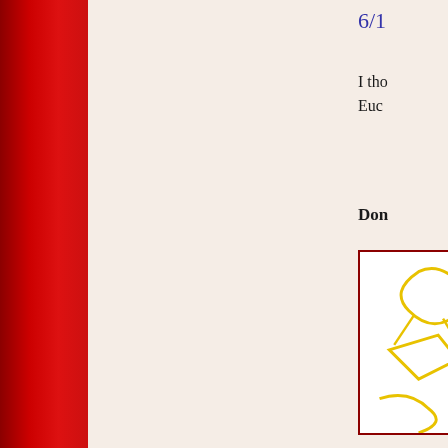6/1
I tho
Euc
Don
[Figure (illustration): A bordered white box containing yellow curved/angular shapes on white background, partially visible - appears to be a mathematical or geometric diagram with yellow line drawings]